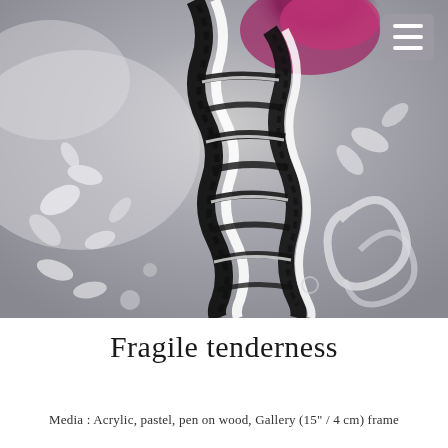[Figure (illustration): Mixed media artwork showing a stylized figure or form with bold black and white zebra-like striped patterns interwoven with floral and swirling grey/white decorative motifs. A purple/magenta accent appears in the upper portion. The background features soft grey tones with white leaf and scroll designs.]
Fragile tenderness
Media : Acrylic, pastel, pen on wood, Gallery (15" / 4 cm) frame